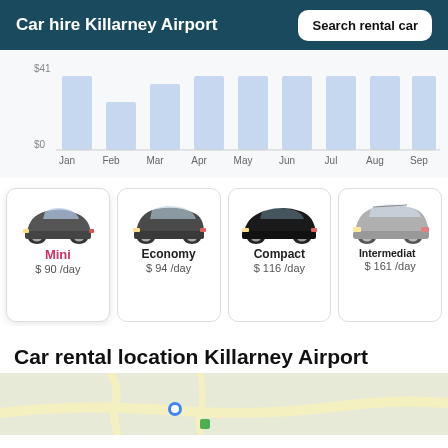Car hire Killarney Airport
[Figure (bar-chart): Price by month]
[Figure (photo): Mini car - small grey hatchback (Fiat 500 style)]
Mini
$ 90 /day
[Figure (photo): Economy car - dark grey hatchback (VW Golf style)]
Economy
$ 94 /day
[Figure (photo): Compact car - black sedan]
Compact
$ 116 /day
[Figure (photo): Intermediate car - silver SUV (partially cropped)]
Intermediate
$ 161 /day
Car rental location Killarney Airport
[Figure (map): Map showing Killarney Airport car rental location]